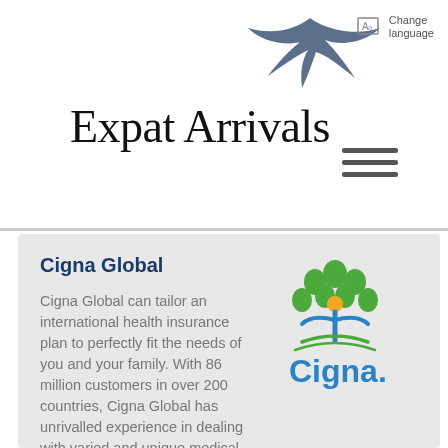Change language
Expat Arrivals
[Figure (logo): Cigna logo with green tree, orange circle person, blue arms, and 'Cigna.' wordmark in blue]
Cigna Global
Cigna Global can tailor an international health insurance plan to perfectly fit the needs of you and your family. With 86 million customers in over 200 countries, Cigna Global has unrivalled experience in dealing with varied and unique medical situations and delivering high standards of service wherever you live in the world.
Get a quote from Cigna Global